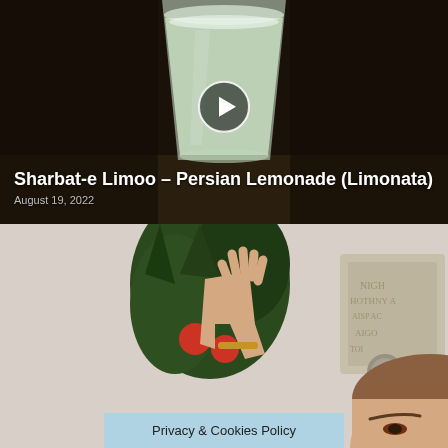[Figure (photo): A tall glass of pale green Persian lemonade (Sharbat-e Limoo) on a dark background, with a circular play button overlay in the center of the image.]
Sharbat-e Limoo – Persian Lemonade (Limonata)
August 19, 2022
[Figure (photo): A person raising their hand in front of a floral arrangement with apples, partially visible from below the frame, against a light background with text/signage visible.]
Privacy & Cookies Policy